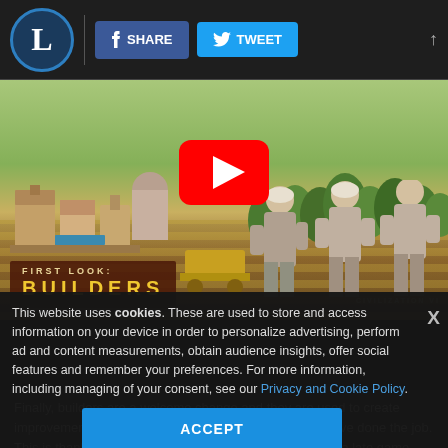[Figure (screenshot): Website top navigation bar with Livesey logo, Facebook Share button, Twitter Tweet button]
[Figure (screenshot): YouTube video thumbnail for 'First Look: Builders' from Civilization VI, showing a game scene with village, builders/workers, and trees, with a YouTube play button overlay]
Finally, builders are a welcome change and they are used to create improvements that disappear from the map once they have done the job. This is thankfully something that helps management in the late game, and also puts an end to the tedious waiting when
This website uses cookies. These are used to store and access information on your device in order to personalize advertising, perform ad and content measurements, obtain audience insights, offer social features and remember your preferences. For more information, including managing of your consent, see our Privacy and Cookie Policy.